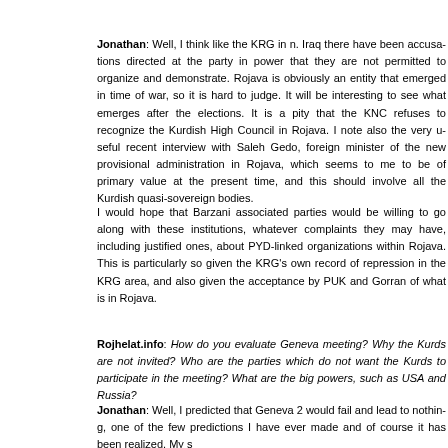Jonathan: Well, I think like the KRG in n. Iraq there have been accusations directed at the party in power that they are not permitted to organize and demonstrate there. Rojava is obviously an entity that emerged in time of war, so it is hard to judge. It will be interesting to see what emerges after the elections. It is a pity that the KNC refuses to recognize the Kurdish High Council in Rojava. I note also the very useful recent interview with Saleh Gedo, foreign minister of the new provisional administration in Rojava, which seems to me to be of primary value at the present time, and this should involve all the Kurdish quasi-sovereign bodies.
I would hope that Barzani associated parties would be willing to go along with these institutions, whatever complaints they may have, including justified ones, about PYD-linked organizations within Rojava. This is particularly so given the KRG's own record of repression in the KRG area, and also given the acceptance by PUK and Gorran of what is in Rojava.
Rojhelat.info: How do you evaluate Geneva meeting? Why the Kurds are not invited? Who are the parties which do not want the Kurds to participate in the meeting? What are the big powers, such as USA and Russia?
Jonathan: Well, I predicted that Geneva 2 would fail and lead to nothing, one of the few predictions I have ever made and of course it has been realized. My s